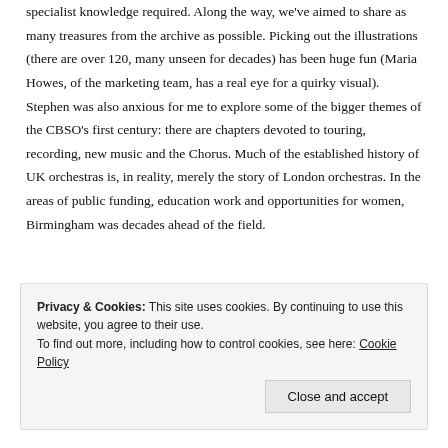specialist knowledge required. Along the way, we've aimed to share as many treasures from the archive as possible. Picking out the illustrations (there are over 120, many unseen for decades) has been huge fun (Maria Howes, of the marketing team, has a real eye for a quirky visual). Stephen was also anxious for me to explore some of the bigger themes of the CBSO's first century: there are chapters devoted to touring, recording, new music and the Chorus. Much of the established history of UK orchestras is, in reality, merely the story of London orchestras. In the areas of public funding, education work and opportunities for women, Birmingham was decades ahead of the field.
Privacy & Cookies: This site uses cookies. By continuing to use this website, you agree to their use.
To find out more, including how to control cookies, see here: Cookie Policy